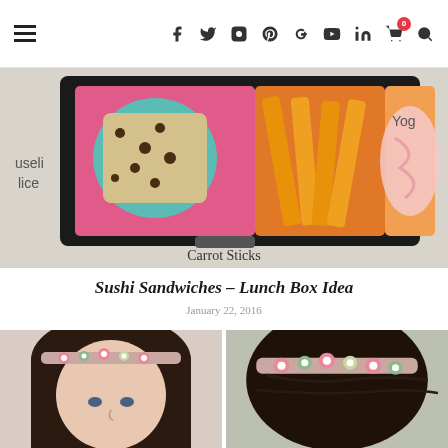Navigation bar with hamburger menu and social icons: Facebook, Twitter, Instagram, Pinterest, Google+, YouTube, LinkedIn, Cart (0), Search
[Figure (photo): Lunch box with carrot sticks in a pink compartment, a granola bar in a teal silicone cup, and pink yogurt in an orange container. Text label 'Carrot Sticks' visible below.]
Sushi Sandwiches – Lunch Box Idea
January 22, 2016
[Figure (photo): Two side-by-side photos of a young girl wearing a floral crochet headband — left photo shows the front/face view, right photo shows the back/detail view of the headband.]